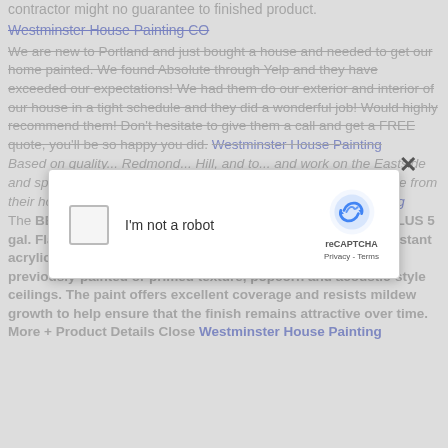contractor might no guarantee to finished product.
Westminster House Painting CO (link, strikethrough)
We are new to Portland and just bought a house and needed to get our home painted. We found Absolute through Yelp and they have exceeded our expectations! We had them do our exterior and interior of our house in a tight schedule and they did a wonderful job! Would highly recommend them! Don't hesitate to give them a call and get a FREE quote, you'll be so happy you did. Westminster House Painting
Based on quality... Redmond... Hill, and to... and work on the Eastside and specialize in homeowners who expect a higher level of service from their home improvement professional. Westminster Home Painting
The BEHR PREMIUM PLUS 5 gal. Flat The BEHR PREMIUM PLUS 5 gal. Flat Interior Ceiling Paint features a durable, splatter-resistant acrylic-latex formulation. It is designed for application on previously-painted or primed texture, popcorn and acoustic-style ceilings. The paint offers excellent coverage and resists mildew growth to help ensure that the finish remains attractive over time. More + Product Details Close Westminster House Painting
[Figure (screenshot): reCAPTCHA modal dialog with checkbox 'I'm not a robot' and reCAPTCHA logo with Privacy and Terms links]